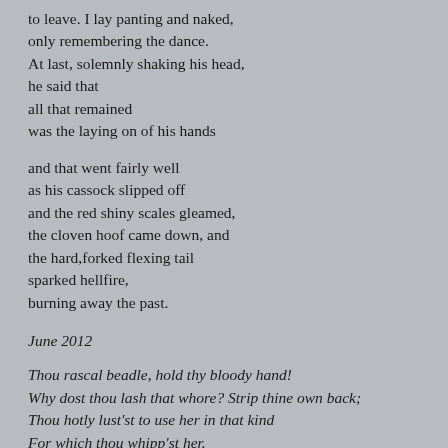to leave.  I lay panting and naked,
only remembering the dance.
At last, solemnly shaking his head,
he said that
all that remained
was the laying on of his hands

and that went fairly well
as his cassock slipped off
and the red shiny scales gleamed,
the cloven hoof came down, and
the hard,forked flexing tail
sparked hellfire,
burning away the past.
June 2012
Thou rascal beadle, hold thy bloody hand!
Why dost thou lash that whore? Strip thine own back;
Thou hotly lust'st to use her in that kind
For which thou whipp'st her.